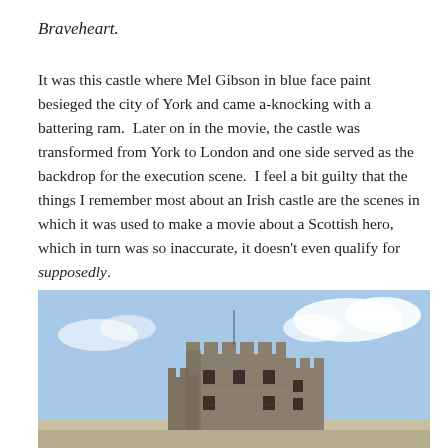Braveheart.
It was this castle where Mel Gibson in blue face paint besieged the city of York and came a-knocking with a battering ram.  Later on in the movie, the castle was transformed from York to London and one side served as the backdrop for the execution scene.  I feel a bit guilty that the things I remember most about an Irish castle are the scenes in which it was used to make a movie about a Scottish hero, which in turn was so inaccurate, it doesn't even qualify for supposedly.
[Figure (photo): Photograph of a medieval Irish castle tower against a blue sky with white clouds. The stone keep has battlements and small windows, shown from a low angle.]